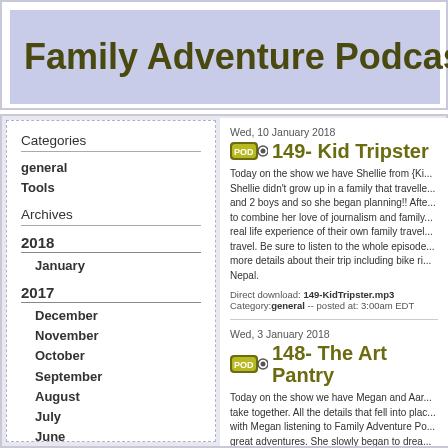Family Adventure Podcast
Categories
general
Tools
Archives
2018
January
2017
December
November
October
September
August
July
June
May
April
March
February
Wed, 10 January 2018
149- Kid Tripster
Today on the show we have Shellie from {Ki... Shellie didn't grow up in a family that travelle... and 2 boys and so she began planning!! Afte... to combine her love of journalism and family... real life experience of their own family travel... travel. Be sure to listen to the whole episode... more details about their trip including bike ri... Nepal.
Direct download: 149-KidTripster.mp3
Category: general -- posted at: 3:00am EDT
Wed, 3 January 2018
148- The Art Pantry
Today on the show we have Megan and Aar... take together. All the details that fell into plac... with Megan listening to Family Adventure Po... great adventures. She slowly began to drea... a Date! It took Aaron a little bit longer to com... spouse's dreams can lead to an unforgettab... through all this. So at the beginning of 2017...